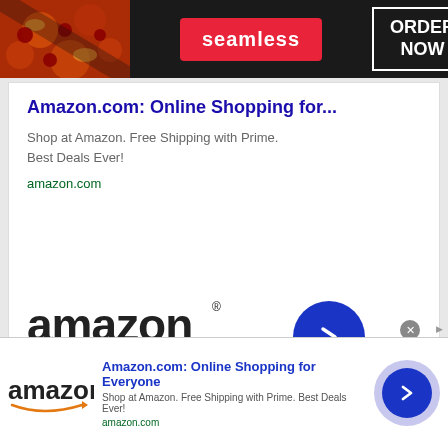[Figure (screenshot): Seamless food delivery banner ad with pizza image, red Seamless button, and ORDER NOW button on dark background]
Amazon.com: Online Shopping for...
Shop at Amazon. Free Shipping with Prime. Best Deals Ever!
amazon.com
[Figure (logo): Amazon logo with orange arrow and blue circular arrow button]
[Figure (screenshot): Bottom ad bar: Amazon logo, Amazon.com: Online Shopping for Everyone, Shop at Amazon. Free Shipping with Prime. Best Deals Ever!, amazon.com, lavender/blue circle arrow button, close X and Ads badge]